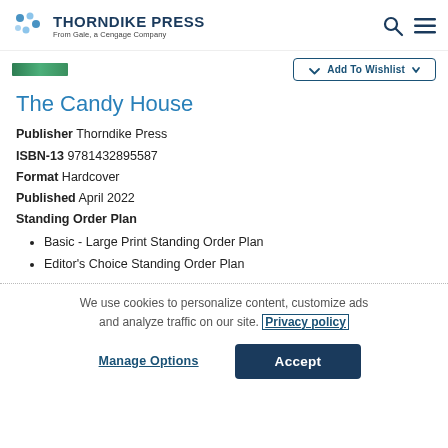THORNDIKE PRESS From Gale, a Cengage Company
The Candy House
Publisher Thorndike Press
ISBN-13 9781432895587
Format Hardcover
Published April 2022
Standing Order Plan
Basic - Large Print Standing Order Plan
Editor's Choice Standing Order Plan
We use cookies to personalize content, customize ads and analyze traffic on our site. Privacy policy
Manage Options
Accept